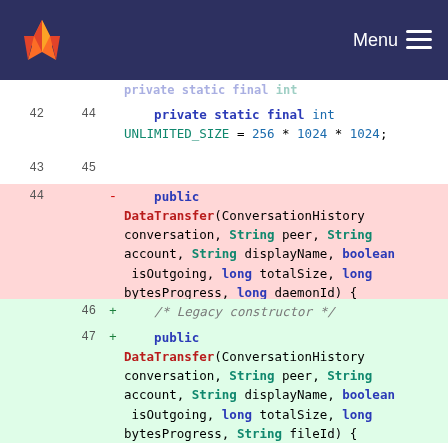Menu
[Figure (screenshot): GitLab-style code diff view showing Java source code for DataTransfer constructor changes. Lines 42-50 shown with old/new line numbers, removed lines in pink background and added lines in green background. Code shows private static final int UNLIMITED_SIZE = 256 * 1024 * 1024, DataTransfer constructors with ConversationHistory, String peer, String account, String displayName, boolean isOutgoing, long totalSize, long bytesProgress parameters.]